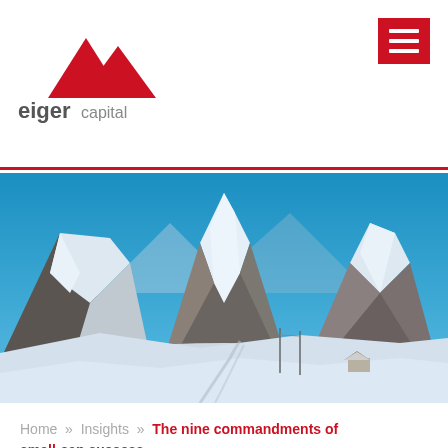[Figure (logo): Eiger Capital logo with two red mountain peaks and text 'eiger capital' in grey]
[Figure (other): Red hamburger menu icon (three white horizontal lines on red background) in top right corner]
[Figure (photo): Alpine mountain landscape with snow-covered peaks under a bright blue sky, with a small building/chalet visible in the lower right area and a road/path in the snow]
Home » Insights » The nine commandments of small-cap success